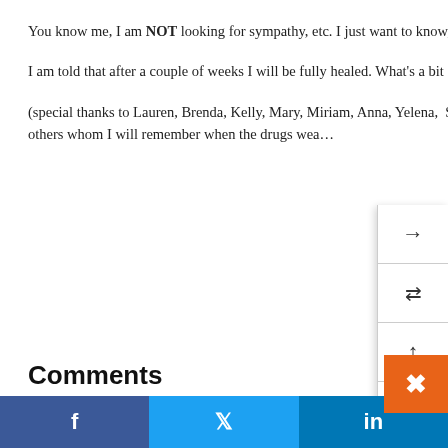You know me, I am NOT looking for sympathy, etc. I just want to know, how are you prepared?
I am told that after a couple of weeks I will be fully healed. What's a bit of intense pain between friends?
(special thanks to Lauren, Brenda, Kelly, Mary, Miriam, Anna, Yelena, Sandi, Kate and Jim, few of who even know this blog and others whom I will remember when the drugs wea...
[Figure (screenshot): Side navigation panel overlay with arrow icons (right, shuffle, up, down, home, close) on white background with gray borders]
[Figure (screenshot): Navigation overlay with left arrow, divider lines, and close (x) icon]
Comments
By staying afloat
Though my son is not as physically disabled as your daughter, I still find that even my husband doesn't really know the be...
[Figure (screenshot): Orange close button overlay (x) in bottom right corner]
[Figure (screenshot): Social share bar with Facebook, Twitter, LinkedIn buttons]